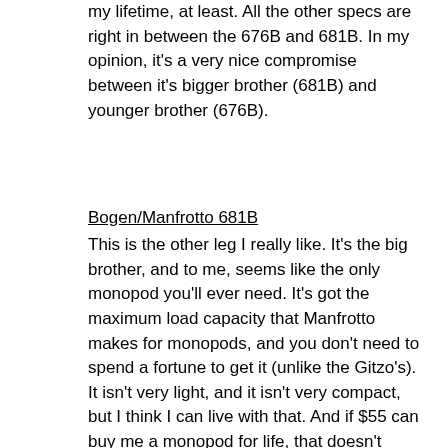my lifetime, at least. All the other specs are right in between the 676B and 681B. In my opinion, it's a very nice compromise between it's bigger brother (681B) and younger brother (676B).
Bogen/Manfrotto 681B
This is the other leg I really like. It's the big brother, and to me, seems like the only monopod you'll ever need. It's got the maximum load capacity that Manfrotto makes for monopods, and you don't need to spend a fortune to get it (unlike the Gitzo's). It isn't very light, and it isn't very compact, but I think I can live with that. And if $55 can buy me a monopod for life, that doesn't seem so expensive.
Canon Monopod 100 w/mini-ballhead
I toss this on the list because of 2 reasons: it's dirt cheap, and it has a built-in ball head. However, it doesn't meet my load capacity requirement– 4.4 lb is just barely meeting my current load, and it won't be usable at all if I were to upgrade any equipment. The built-in ball head is nice to have, but sometimes a ball head may